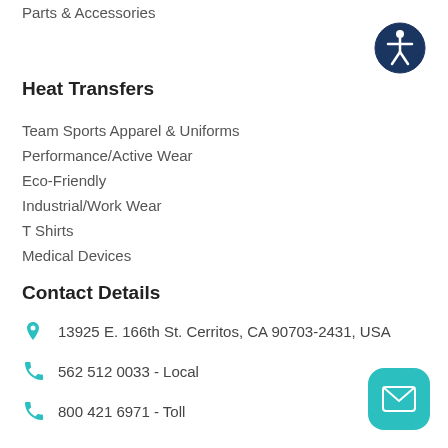Parts & Accessories
[Figure (illustration): Accessibility icon — dark navy circle with white person/wheelchair symbol]
Heat Transfers
Team Sports Apparel & Uniforms
Performance/Active Wear
Eco-Friendly
Industrial/Work Wear
T Shirts
Medical Devices
Contact Details
13925 E. 166th St. Cerritos, CA 90703-2431, USA
562 512 0033 - Local
800 421 6971 - Toll
[Figure (illustration): Teal rounded square button with white envelope/email icon]